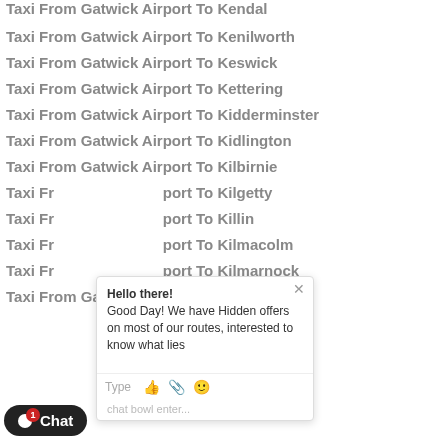Taxi From Gatwick Airport To Kendal
Taxi From Gatwick Airport To Kenilworth
Taxi From Gatwick Airport To Keswick
Taxi From Gatwick Airport To Kettering
Taxi From Gatwick Airport To Kidderminster
Taxi From Gatwick Airport To Kidlington
Taxi From Gatwick Airport To Kilbirnie
Taxi From Gatwick Airport To Kilgetty
Taxi From Gatwick Airport To Killin
Taxi From Gatwick Airport To Kilmacolm
Taxi From Gatwick Airport To Kilmarnock
Taxi From Gatwick Airport To Kilwinning